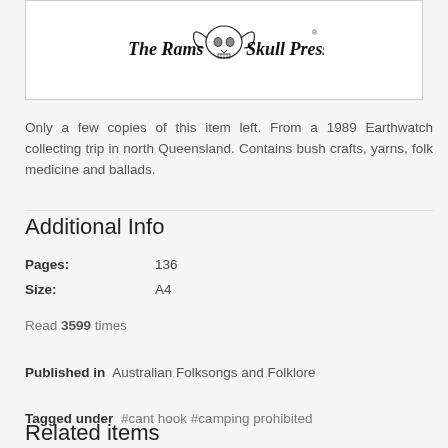[Figure (logo): The Rams Skull Press logo with decorative ram skull illustration and stylized text]
Only a few copies of this item left. From a 1989 Earthwatch collecting trip in north Queensland. Contains bush crafts, yarns, folk medicine and ballads.
Additional Info
| Pages: | 136 |
| Size: | A4 |
Read 3599 times
Published in  Australian Folksongs and Folklore
Tagged under  #cant hook  #camping prohibited
Related items